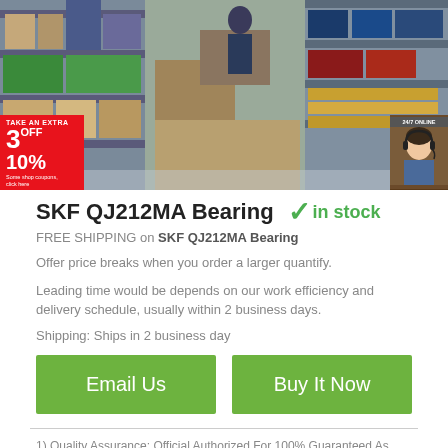[Figure (photo): Warehouse shelves with stacked boxes and bearing packages in a storage facility]
SKF QJ212MA Bearing  ✓in stock
FREE SHIPPING on SKF QJ212MA Bearing
Offer price breaks when you order a larger quantify.
Leading time would be depends on our work efficiency and delivery schedule, usually within 2 business days.
Shipping: Ships in 2 business day
Email Us
Buy It Now
1) Quality Assurance: Official Authorized For 100% Guaranteed As Described